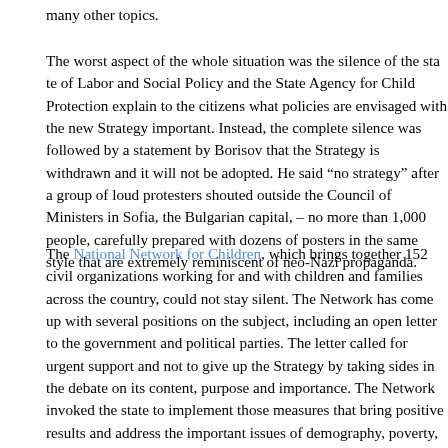many other topics.
The worst aspect of the whole situation was the silence of the state of Labor and Social Policy and the State Agency for Child Protection explain to the citizens what policies are envisaged with the new Strategy important. Instead, the complete silence was followed by a statement by Borisov that the Strategy is withdrawn and it will not be adopted. He said "no strategy" after a group of loud protesters shouted outside the Council of Ministers in Sofia, the Bulgarian capital, – no more than 1,000 people, carefully prepared with dozens of posters in the same style that are extremely reminiscent of neo-Nazi propaganda.
The National Network for Children, which brings together 152 civil organizations working for and with children and families across the country, could not stay silent. The Network has come up with several positions on the subject, including an open letter to the government and political parties. The letter called for urgent support and not to give up the Strategy by taking sides in the debate on its content, purpose and importance. The Network invoked the state to implement those measures that bring positive results and address the important issues of demography, poverty, parental inclusion and improving the well-being of children.